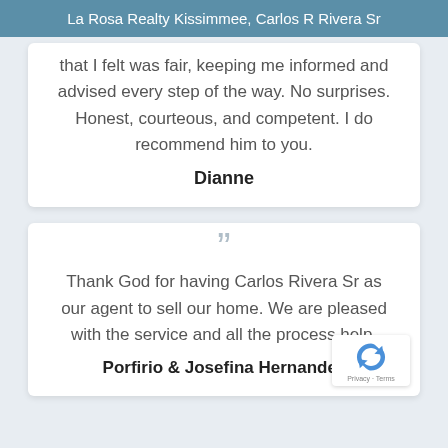La Rosa Realty Kissimmee, Carlos R Rivera Sr
that I felt was fair, keeping me informed and advised every step of the way. No surprises. Honest, courteous, and competent. I do recommend him to you.
Dianne
Thank God for having Carlos Rivera Sr as our agent to sell our home. We are pleased with the service and all the process help.
Porfirio & Josefina Hernandez